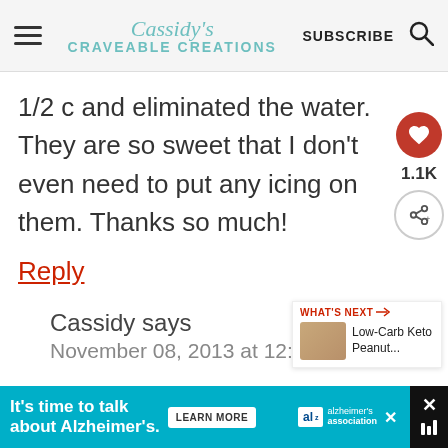Cassidy's Craveable Creations — SUBSCRIBE
1/2 c and eliminated the water. They are so sweet that I don't even need to put any icing on them. Thanks so much!
Reply
Cassidy says
November 08, 2013 at 12:25 am
[Figure (other): WHAT'S NEXT widget showing Low-Carb Keto Peanut... with thumbnail image]
It's time to talk about Alzheimer's. LEARN MORE